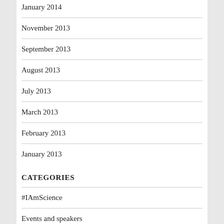January 2014
November 2013
September 2013
August 2013
July 2013
March 2013
February 2013
January 2013
CATEGORIES
#IAmScience
Events and speakers
Faces of Science
From our director